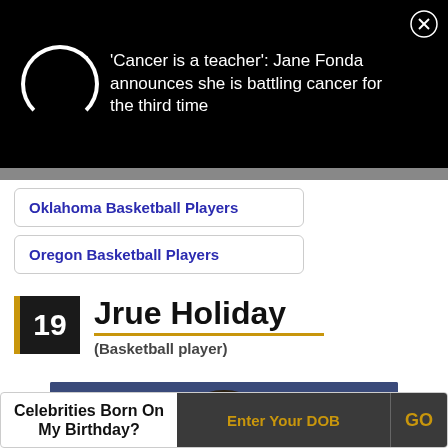[Figure (screenshot): Black banner with loading spinner circle and news headline text about Jane Fonda, with close (X) button]
'Cancer is a teacher': Jane Fonda announces she is battling cancer for the third time
Oklahoma Basketball Players
Oregon Basketball Players
19
Jrue Holiday
(Basketball player)
[Figure (photo): Partial photo of Jrue Holiday's head with braided hair against a dark blue background]
Celebrities Born On My Birthday?
Enter Your DOB
GO